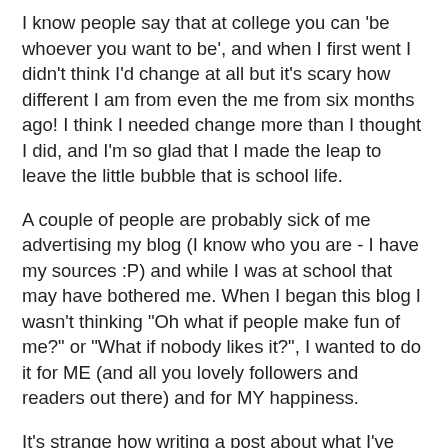I know people say that at college you can 'be whoever you want to be', and when I first went I didn't think I'd change at all but it's scary how different I am from even the me from six months ago! I think I needed change more than I thought I did, and I'm so glad that I made the leap to leave the little bubble that is school life.
A couple of people are probably sick of me advertising my blog (I know who you are - I have my sources :P) and while I was at school that may have bothered me. When I began this blog I wasn't thinking "Oh what if people make fun of me?" or "What if nobody likes it?", I wanted to do it for ME (and all you lovely followers and readers out there) and for MY happiness.
It's strange how writing a post about what I've bought would make me so happy, but it really has and I can't wait to see how it grows. I've got no plans of letting up so be prepared to come along for the ride.
See you soon and stay insane!